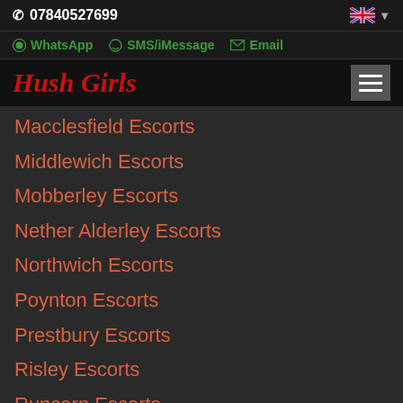07840527699
WhatsApp  SMS/iMessage  Email
Hush Girls
Macclesfield Escorts
Middlewich Escorts
Mobberley Escorts
Nether Alderley Escorts
Northwich Escorts
Poynton Escorts
Prestbury Escorts
Risley Escorts
Runcorn Escorts
Sandbach Escorts
Warrington Escorts